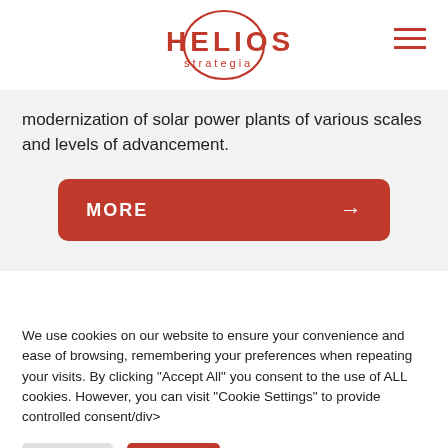HELIOS strategia
modernization of solar power plants of various scales and levels of advancement.
MORE →
We use cookies on our website to ensure your convenience and ease of browsing, remembering your preferences when repeating your visits. By clicking "Accept All" you consent to the use of ALL cookies. However, you can visit "Cookie Settings" to provide controlled consent/div>
Settings
I accept